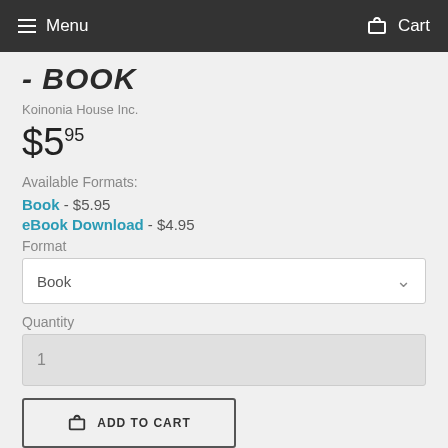Menu  Cart
- Book
Koinonia House Inc.
$5.95
Available Formats:
Book - $5.95
eBook Download - $4.95
Format
Book
Quantity
1
ADD TO CART